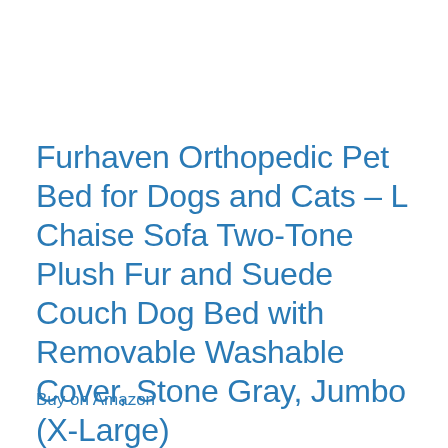Furhaven Orthopedic Pet Bed for Dogs and Cats – L Chaise Sofa Two-Tone Plush Fur and Suede Couch Dog Bed with Removable Washable Cover, Stone Gray, Jumbo (X-Large)
Buy on Amazon